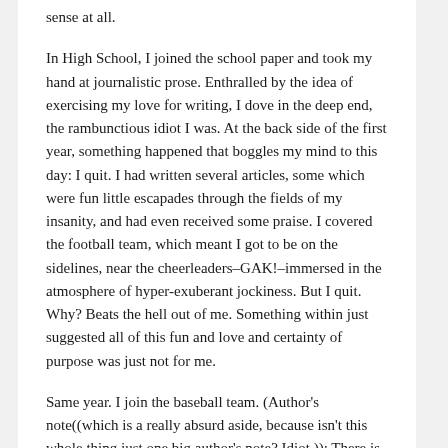sense at all.
In High School, I joined the school paper and took my hand at journalistic prose. Enthralled by the idea of exercising my love for writing, I dove in the deep end, the rambunctious idiot I was. At the back side of the first year, something happened that boggles my mind to this day: I quit. I had written several articles, some which were fun little escapades through the fields of my insanity, and had even received some praise. I covered the football team, which meant I got to be on the sidelines, near the cheerleaders–GAK!–immersed in the atmosphere of hyper-exuberant jockiness. But I quit. Why? Beats the hell out of me. Something within just suggested all of this fun and love and certainty of purpose was just not for me.
Same year. I join the baseball team. (Author's note((which is a really absurd aside, because isn't this whole thing just one big author's note? Idiot.)): There is no adequate reference to how I feel about baseball. Best I can say is this: If you believe in Evolution, and